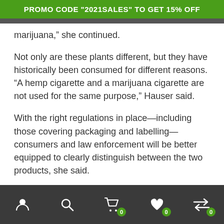PROMO CODE "2021SALES" TO GET 15% OFF
marijuana,” she continued.
Not only are these plants different, but they have historically been consumed for different reasons. “A hemp cigarette and a marijuana cigarette are not used for the same purpose,” Hauser said.
With the right regulations in place—including those covering packaging and labelling—consumers and law enforcement will be better equipped to clearly distinguish between the two products, she said.
Navigation bar with user, search, cart (0), wishlist (0), and compare (0) icons